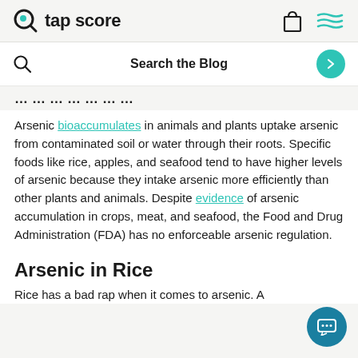tap score
Search the Blog
…………
Arsenic bioaccumulates in animals and plants uptake arsenic from contaminated soil or water through their roots. Specific foods like rice, apples, and seafood tend to have higher levels of arsenic because they intake arsenic more efficiently than other plants and animals. Despite evidence of arsenic accumulation in crops, meat, and seafood, the Food and Drug Administration (FDA) has no enforceable arsenic regulation.
Arsenic in Rice
Rice has a bad rap when it comes to arsenic. A